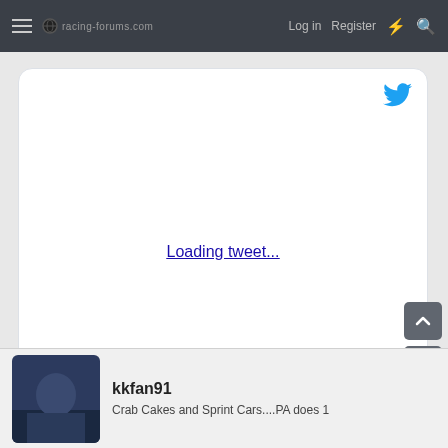racing-forums.com  Log in  Register
[Figure (screenshot): Embedded tweet widget with Twitter bird logo and 'Loading tweet...' link text in center of white card]
Loading tweet...
kkfan91
Crab Cakes and Sprint Cars....PA does 1